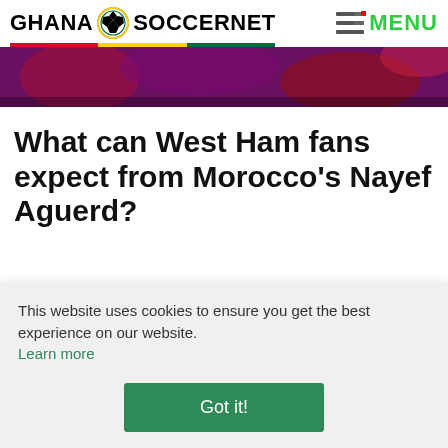GHANA SOCCERNET MENU
[Figure (photo): Hero banner image with colorful soccer fan elements, purple and red tones]
What can West Ham fans expect from Morocco's Nayef Aguerd?
This website uses cookies to ensure you get the best experience on our website.
Learn more
Got it!